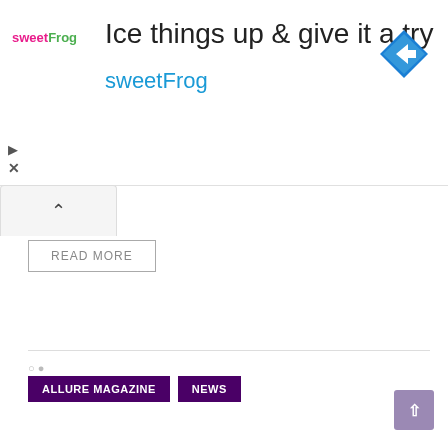[Figure (screenshot): SweetFrog advertisement banner with text 'Ice things up & give it a try' and 'sweetFrog' brand name in cyan, with sweetFrog logo on the left and a blue navigation diamond icon on the right]
[Figure (screenshot): UI tab/chevron button (up caret) on a light gray rounded tab]
READ MORE
ALLURE MAGAZINE
NEWS
[Figure (screenshot): Purple scroll-to-top button with upward arrow in the bottom right corner]